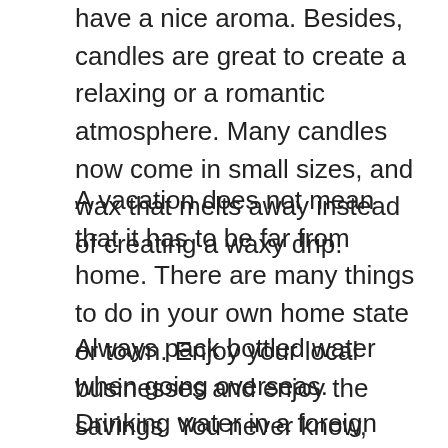have a nice aroma. Besides, candles are great to create a relaxing or a romantic atmosphere. Many candles now come in small sizes, and wax that melts away instead of creating a waxy drip.
A vacation does not mean that it has to be far from home. There are many things to do in your own home state or town. Enjoy your local businesses and enjoy the savings. You never know, there could be a hidden gem right around the corner.
Always pack bottled water when going overseas. Drinking water in a foreign country can lead to stomach problems. Use bottled water to brush your teeth with. Using tap water can get you sick, no matter how you use it.